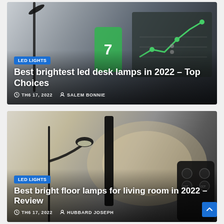[Figure (photo): Card 1: LED desk lamp photo with dark background and green chart overlay. Badge 'LED LIGHTS', title 'Best brightest led desk lamps in 2022 – Top Choices', date 'TH6 17, 2022', author 'SALEM BONNIE'.]
[Figure (photo): Card 2: Floor lamp photo with warm/cool light and remote control. Badge 'LED LIGHTS', title 'Best bright floor lamps for living room in 2022 – Review', date 'TH6 17, 2022', author 'HUBBARD JOSEPH'.]